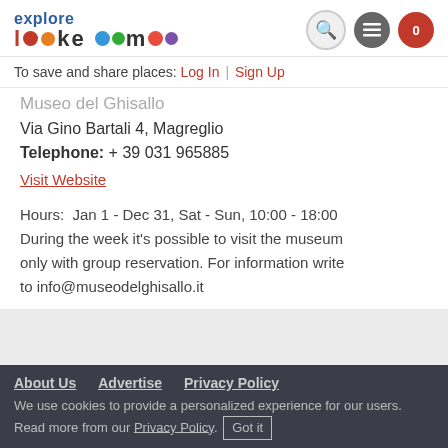explore lake como
To save and share places: Log In | Sign Up
Museo del Ghisallo
Via Gino Bartali 4, Magreglio
Telephone: + 39 031 965885
Visit Website
Hours: Jan 1 - Dec 31, Sat - Sun, 10:00 - 18:00
During the week it's possible to visit the museum only with group reservation. For information write to info@museodelghisallo.it
About Us  Advertise  Privacy Policy
We use cookies to provide a personalized experience for our users. Read more from our Privacy Policy. Got it